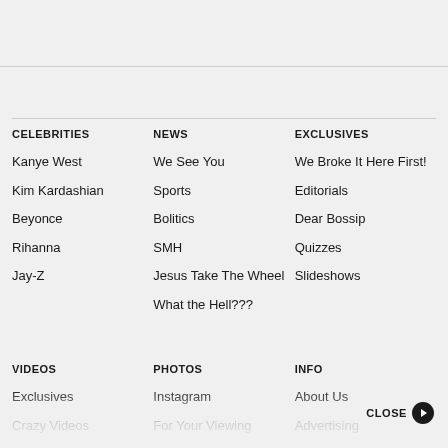CELEBRITIES
Kanye West
Kim Kardashian
Beyonce
Rihanna
Jay-Z
NEWS
We See You
Sports
Bolitics
SMH
Jesus Take The Wheel
What the Hell???
EXCLUSIVES
We Broke It Here First!
Editorials
Dear Bossip
Quizzes
Slideshows
VIDEOS
Exclusives
Crazy Videos
Music Videos
Reality Videos
PHOTOS
Instagram
For Your Viewing Pleasure
Gossip
INFO
About Us
Advertising
Careers